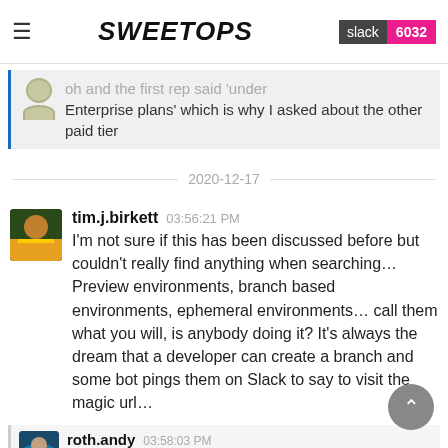SweetOps | slack 6032
oh and the first rep said 'under Enterprise plans' which is why I asked about the other paid tier
2020-12-17
tim.j.birkett  03:56:21 PM
I'm not sure if this has been discussed before but couldn't really find anything when searching… Preview environments, branch based environments, ephemeral environments… call them what you will, is anybody doing it? It's always the dream that a developer can create a branch and some bot pings them on Slack to say to visit the magic url…
roth.andy  03:58:03 PM